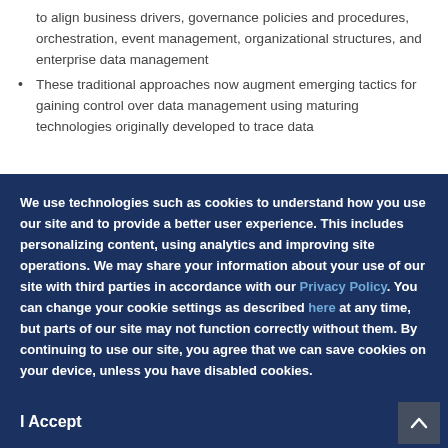to align business drivers, governance policies and procedures, orchestration, event management, organizational structures, and enterprise data management
These traditional approaches now augment emerging tactics for gaining control over data management using maturing technologies originally developed to trace data
We use technologies such as cookies to understand how you use our site and to provide a better user experience. This includes personalizing content, using analytics and improving site operations. We may share your information about your use of our site with third parties in accordance with our Privacy Policy. You can change your cookie settings as described here at any time, but parts of our site may not function correctly without them. By continuing to use our site, you agree that we can save cookies on your device, unless you have disabled cookies.
I Accept